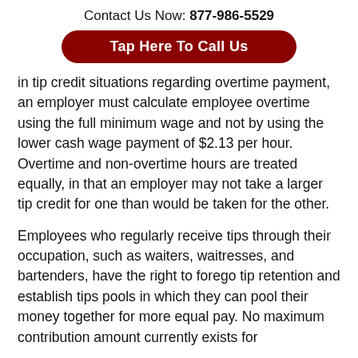Contact Us Now: 877-986-5529
Tap Here To Call Us
in tip credit situations regarding overtime payment, an employer must calculate employee overtime using the full minimum wage and not by using the lower cash wage payment of $2.13 per hour. Overtime and non-overtime hours are treated equally, in that an employer may not take a larger tip credit for one than would be taken for the other.
Employees who regularly receive tips through their occupation, such as waiters, waitresses, and bartenders, have the right to forego tip retention and establish tips pools in which they can pool their money together for more equal pay. No maximum contribution amount currently exists for